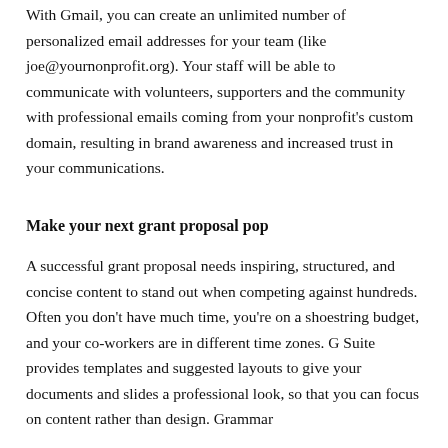With Gmail, you can create an unlimited number of personalized email addresses for your team (like joe@yournonprofit.org). Your staff will be able to communicate with volunteers, supporters and the community with professional emails coming from your nonprofit's custom domain, resulting in brand awareness and increased trust in your communications.
Make your next grant proposal pop
A successful grant proposal needs inspiring, structured, and concise content to stand out when competing against hundreds. Often you don't have much time, you're on a shoestring budget, and your co-workers are in different time zones. G Suite provides templates and suggested layouts to give your documents and slides a professional look, so that you can focus on content rather than design. Grammar